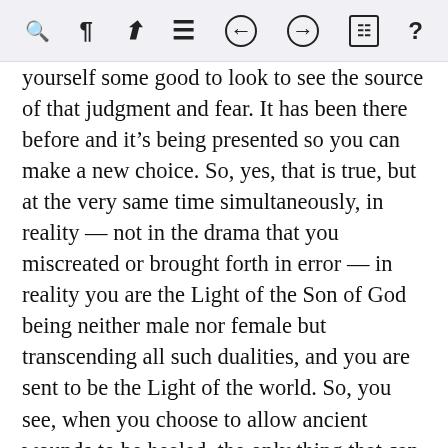[toolbar icons: search, paragraph, cursor, menu, back, forward, book, help]
yourself some good to look to see the source of that judgment and fear. It has been there before and it's being presented so you can make a new choice. So, yes, that is true, but at the very same time simultaneously, in reality — not in the drama that you miscreated or brought forth in error — in reality you are the Light of the Son of God being neither male nor female but transcending all such dualities, and you are sent to be the Light of the world. So, you see, when you choose to allow ancient wounds to be healed, the only thing that can be left is the recognition of the vision of the whole Mind and Heart of Christ that you have always been. And